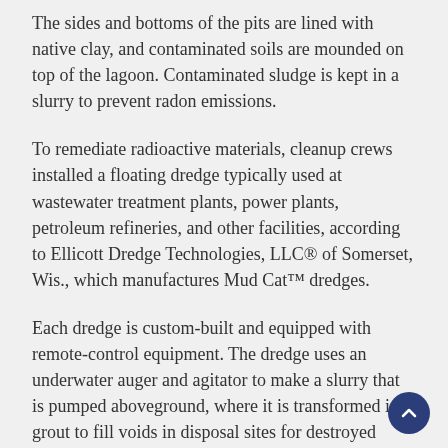The sides and bottoms of the pits are lined with native clay, and contaminated soils are mounded on top of the lagoon. Contaminated sludge is kept in a slurry to prevent radon emissions.
To remediate radioactive materials, cleanup crews installed a floating dredge typically used at wastewater treatment plants, power plants, petroleum refineries, and other facilities, according to Ellicott Dredge Technologies, LLC® of Somerset, Wis., which manufactures Mud Cat™ dredges.
Each dredge is custom-built and equipped with remote-control equipment. The dredge uses an underwater auger and agitator to make a slurry that is pumped aboveground, where it is transformed into grout to fill voids in disposal sites for destroyed uranium buildings.